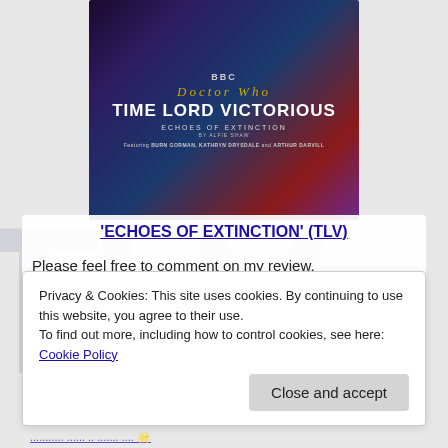[Figure (illustration): Doctor Who: Time Lord Victorious – Echoes of Extinction book/audio cover featuring three characters against a sci-fi background with the BBC Doctor Who logo and Time Lord Victorious branding]
'ECHOES OF EXTINCTION' (TLV)
Please feel free to comment on my review.
Privacy & Cookies: This site uses cookies. By continuing to use this website, you agree to their use.
To find out more, including how to control cookies, see here: Cookie Policy
Close and accept